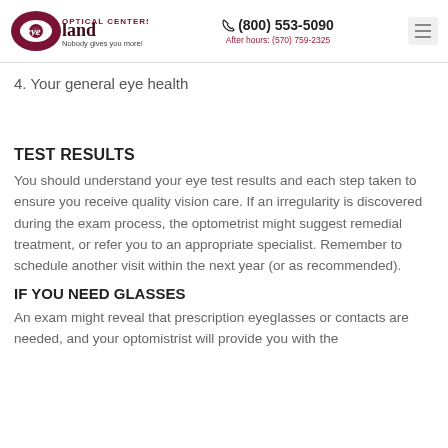eyeland OPTICAL CENTERS Nobody gives you more! (800) 553-5090 After hours: (570) 759-2325
4. Your general eye health
TEST RESULTS
You should understand your eye test results and each step taken to ensure you receive quality vision care. If an irregularity is discovered during the exam process, the optometrist might suggest remedial treatment, or refer you to an appropriate specialist. Remember to schedule another visit within the next year (or as recommended).
IF YOU NEED GLASSES
An exam might reveal that prescription eyeglasses or contacts are needed, and your optomistrist will provide you with the